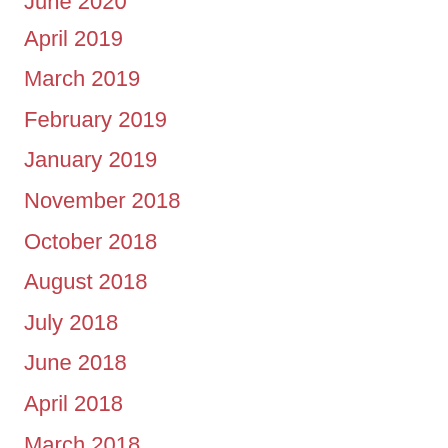June 2020
April 2019
March 2019
February 2019
January 2019
November 2018
October 2018
August 2018
July 2018
June 2018
April 2018
March 2018
January 2018
December 2017